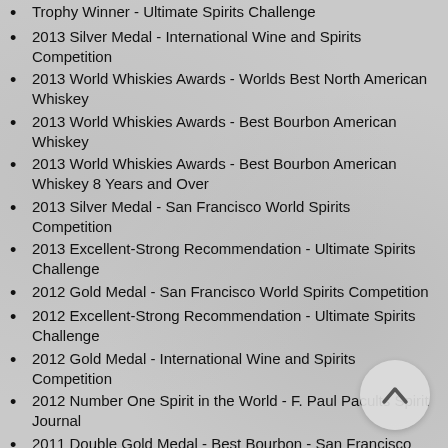Trophy Winner - Ultimate Spirits Challenge
2013 Silver Medal - International Wine and Spirits Competition
2013 World Whiskies Awards - Worlds Best North American Whiskey
2013 World Whiskies Awards - Best Bourbon American Whiskey
2013 World Whiskies Awards - Best Bourbon American Whiskey 8 Years and Over
2013 Silver Medal - San Francisco World Spirits Competition
2013 Excellent-Strong Recommendation - Ultimate Spirits Challenge
2012 Gold Medal - San Francisco World Spirits Competition
2012 Excellent-Strong Recommendation - Ultimate Spirits Challenge
2012 Gold Medal - International Wine and Spirits Competition
2012 Number One Spirit in the World - F. Paul Pacults Spirit Journal
2011 Double Gold Medal - Best Bourbon - San Francisco World Spirits Competition
2011 Extraordinary-Ultimate Recommendation - Chairmans Trophy Winner - Ultimate Spirits Challenge